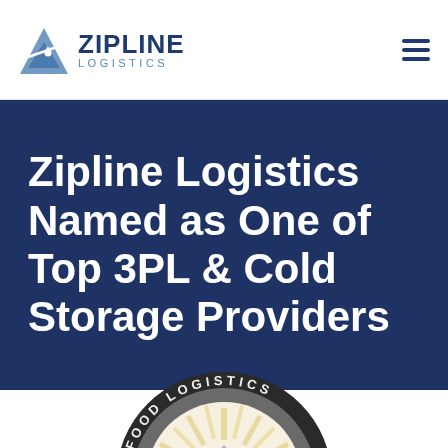[Figure (logo): Zipline Logistics logo with mountain/zipline icon and company name]
Zipline Logistics Named as One of Top 3PL & Cold Storage Providers
[Figure (illustration): Partial Food Logistics award badge/seal, circular medallion with dark outer ring showing 'FOOD LOGISTICS' text, cream/gold sunburst rays in center, partially cropped at bottom of page]